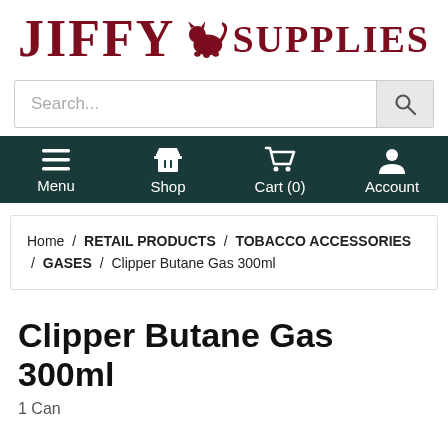JIFFY SUPPLIES
Search...
Menu  Shop  Cart (0)  Account
Home / RETAIL PRODUCTS / TOBACCO ACCESSORIES / GASES / Clipper Butane Gas 300ml
Clipper Butane Gas 300ml
1 Can